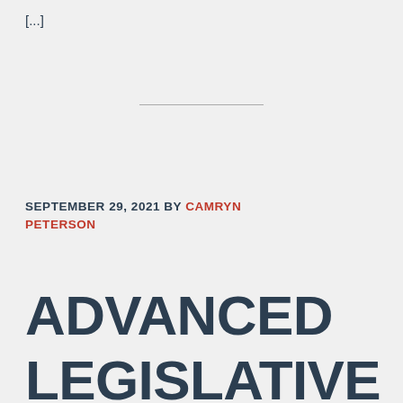[...]
SEPTEMBER 29, 2021 BY CAMRYN PETERSON
ADVANCED LEGISLATIVE